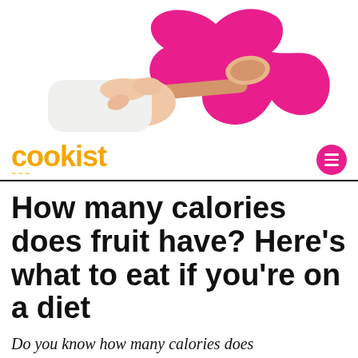[Figure (illustration): A hand in a white chef's sleeve holding a wooden spoon, overlaid with a pink wavy decorative ribbon/shape on a white background. Cookist branded header graphic.]
cookist
How many calories does fruit have? Here’s what to eat if you’re on a diet
Do you know how many calories does fruit contain? You can find first for...